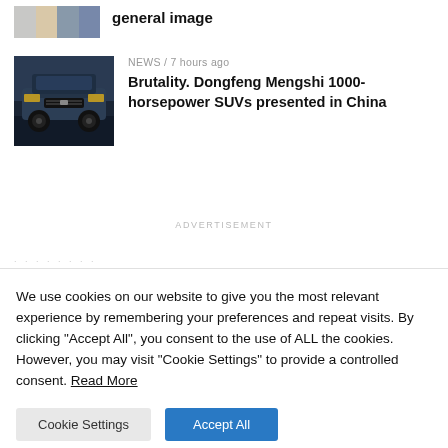[Figure (photo): Partial thumbnail of colored phone variants (white, gold, blue, dark blue)]
general image
NEWS / 7 hours ago
[Figure (photo): Dark colored heavy-duty SUV (Dongfeng Mengshi) on display in China]
Brutality. Dongfeng Mengshi 1000-horsepower SUVs presented in China
ADVERTISEMENT
We use cookies on our website to give you the most relevant experience by remembering your preferences and repeat visits. By clicking "Accept All", you consent to the use of ALL the cookies. However, you may visit "Cookie Settings" to provide a controlled consent. Read More
Cookie Settings
Accept All